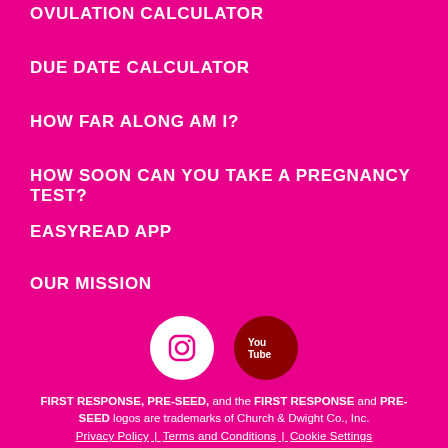OVULATION CALCULATOR
DUE DATE CALCULATOR
HOW FAR ALONG AM I?
HOW SOON CAN YOU TAKE A PREGNANCY TEST?
EASYREAD APP
OUR MISSION
[Figure (logo): Instagram logo (white circle with Instagram icon) and YouTube logo (dark red circle with YouTube text icon)]
FIRST RESPONSE, PRE-SEED, and the FIRST RESPONSE and PRE-SEED logos are trademarks of Church & Dwight Co., Inc.
Privacy Policy | Terms and Conditions | Cookie Settings